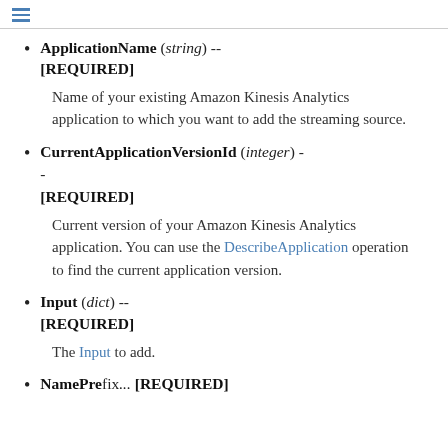≡
ApplicationName (string) -- [REQUIRED]
Name of your existing Amazon Kinesis Analytics application to which you want to add the streaming source.
CurrentApplicationVersionId (integer) -- [REQUIRED]
Current version of your Amazon Kinesis Analytics application. You can use the DescribeApplication operation to find the current application version.
Input (dict) -- [REQUIRED]
The Input to add.
• NamePrefix -- [REQUIRED]